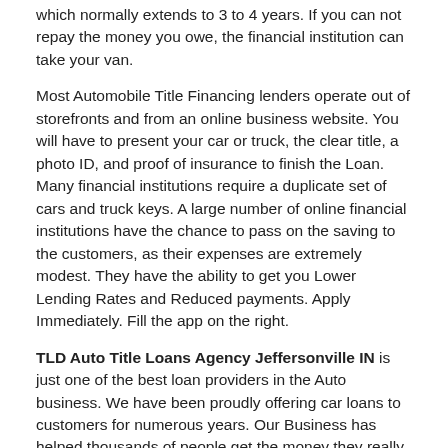which normally extends to 3 to 4 years. If you can not repay the money you owe, the financial institution can take your van.
Most Automobile Title Financing lenders operate out of storefronts and from an online business website. You will have to present your car or truck, the clear title, a photo ID, and proof of insurance to finish the Loan. Many financial institutions require a duplicate set of cars and truck keys. A large number of online financial institutions have the chance to pass on the saving to the customers, as their expenses are extremely modest. They have the ability to get you Lower Lending Rates and Reduced payments. Apply Immediately. Fill the app on the right.
TLD Auto Title Loans Agency Jeffersonville IN is just one of the best loan providers in the Auto business. We have been proudly offering car loans to customers for numerous years. Our Business has helped thousands of people get the money they really need. Our company takes pride in assisting people who might need money instantly. Our loan experts can help guide you through the process of receiving an Automobile Title